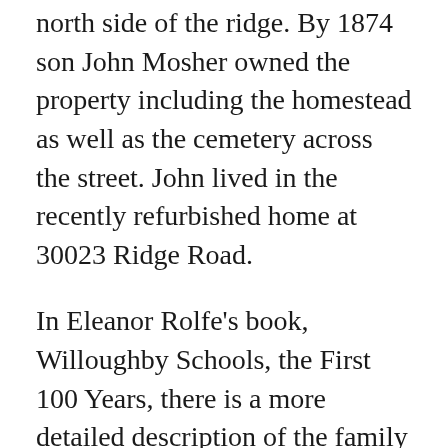north side of the ridge. By 1874 son John Mosher owned the property including the homestead as well as the cemetery across the street. John lived in the recently refurbished home at 30023 Ridge Road.
In Eleanor Rolfe's book, Willoughby Schools, the First 100 Years, there is a more detailed description of the family and the burial of the Pridey family. The story was told by Miss Myra Mosher who related the finding of a wagon of bodies one day by 8 year old George Mosher. They were the remains of the Pridey family which was on the SS J.P. Griffith when it burned just offshore in Lake Erie. The bodies washed ashore, and most